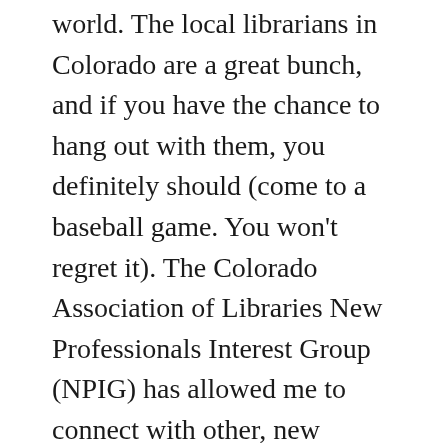world. The local librarians in Colorado are a great bunch, and if you have the chance to hang out with them, you definitely should (come to a baseball game. You won't regret it). The Colorado Association of Libraries New Professionals Interest Group (NPIG) has allowed me to connect with other, new librarians in both a professional and social capacity. Joining, and then leading, a group of new professionals has allowed me to meet people from all sorts of libraries and created opportunities to present at conferences.
Relationships and friendships are vital to my success and wellbeing. I wouldn't be where I am without the smart and talented people surrounding me.